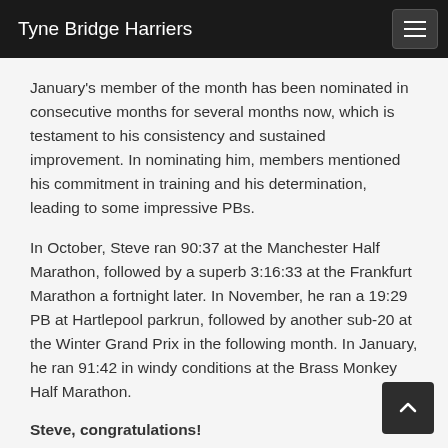Tyne Bridge Harriers
January's member of the month has been nominated in consecutive months for several months now, which is testament to his consistency and sustained improvement. In nominating him, members mentioned his commitment in training and his determination, leading to some impressive PBs.
In October, Steve ran 90:37 at the Manchester Half Marathon, followed by a superb 3:16:33 at the Frankfurt Marathon a fortnight later. In November, he ran a 19:29 PB at Hartlepool parkrun, followed by another sub-20 at the Winter Grand Prix in the following month. In January, he ran 91:42 in windy conditions at the Brass Monkey Half Marathon.
Steve, congratulations!